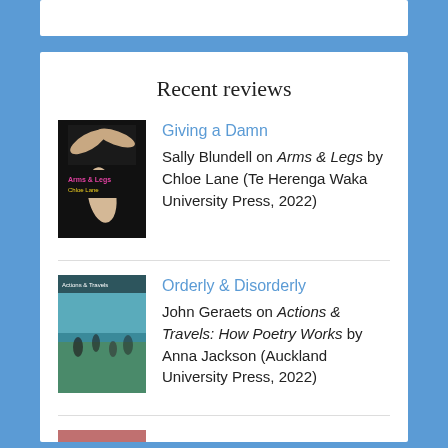Recent reviews
[Figure (photo): Book cover of Arms & Legs by Chloe Lane — black background with arms and hands, pink/yellow title text]
Giving a Damn
Sally Blundell on Arms & Legs by Chloe Lane (Te Herenga Waka University Press, 2022)
[Figure (photo): Book cover of Actions & Travels: How Poetry Works by Anna Jackson — beach scene with people]
Orderly & Disorderly
John Geraets on Actions & Travels: How Poetry Works by Anna Jackson (Auckland University Press, 2022)
[Figure (photo): Partial book cover thumbnail at bottom]
The Kids are Alright, For Now